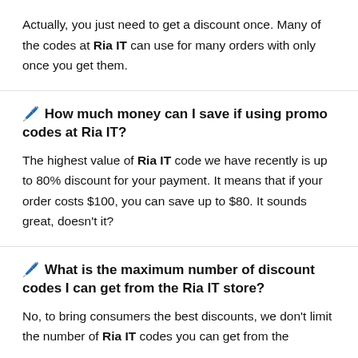Actually, you just need to get a discount once. Many of the codes at Ria IT can use for many orders with only once you get them.
🖊️ How much money can I save if using promo codes at Ria IT?
The highest value of Ria IT code we have recently is up to 80% discount for your payment. It means that if your order costs $100, you can save up to $80. It sounds great, doesn't it?
🖊️ What is the maximum number of discount codes I can get from the Ria IT store?
No, to bring consumers the best discounts, we don't limit the number of Ria IT codes you can get from the